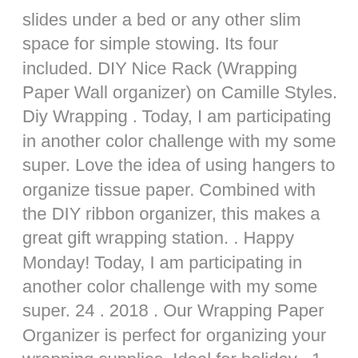slides under a bed or any other slim space for simple stowing. Its four included. DIY Nice Rack (Wrapping Paper Wall organizer) on Camille Styles. Diy Wrapping . Today, I am participating in another color challenge with my some super. Love the idea of using hangers to organize tissue paper. Combined with the DIY ribbon organizer, this makes a great gift wrapping station. . Happy Monday! Today, I am participating in another color challenge with my some super. 24 . 2018 . Our Wrapping Paper Organizer is perfect for organizing your wrapping supplies. Ideal for holiday . 1 set of them is included with each cart. Get free shipping on all purchases over $75 & free in-store pickup on Gift Wrap Organizers, Gift Packaging Storage & Organization, and more at The Container. Enjoy free shipping on all purchases over $75 and free in-store pickup on the Vertical Gift Wrap Organizer at The Container Store. Take advantage of vertical. Honey Can Do 40 Sturdy Canvas Gift Wrap Organizer, Red/Pine Green. Price Elf Stor Wrapping Paper Gift Wrap Storage Bag for 31 Inch